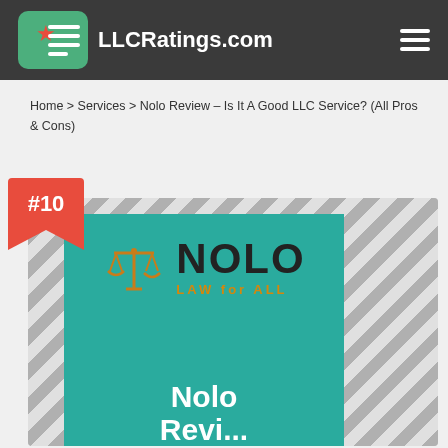LLCRatings.com
Home > Services > Nolo Review – Is It A Good LLC Service? (All Pros & Cons)
[Figure (screenshot): Nolo LLC service review page screenshot showing the Nolo logo (scales of justice icon in orange with NOLO in bold black text and LAW for ALL tagline in orange) on a teal background with diagonal grey striped border. A red banner badge showing #10 ranking overlays the top-left corner. Below the logo the text 'Nolo Review' appears in white bold text.]